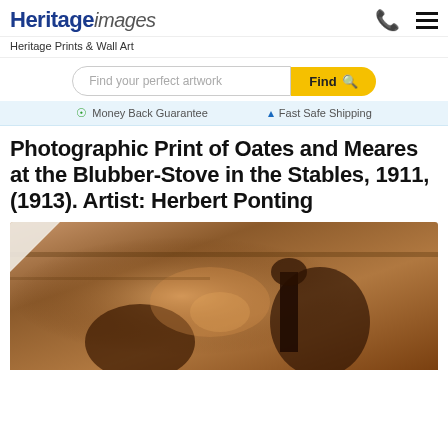Heritage images
Heritage Prints & Wall Art
Find your perfect artwork Find
Money Back Guarantee   Fast Safe Shipping
Photographic Print of Oates and Meares at the Blubber-Stove in the Stables, 1911, (1913). Artist: Herbert Ponting
[Figure (photo): Sepia-toned historical photograph showing two figures (Oates and Meares) at a blubber-stove in stables, with various equipment visible. Photo has a curled corner effect at top left.]